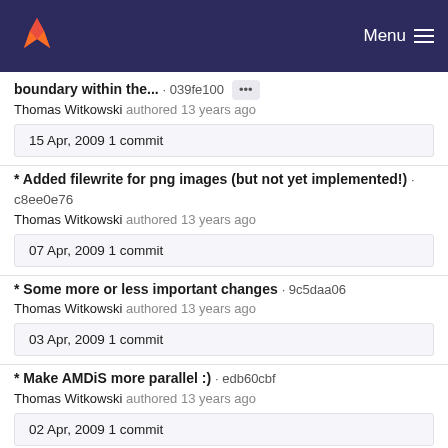Menu
boundary within the... · 039fe100 [...]
Thomas Witkowski authored 13 years ago
15 Apr, 2009 1 commit
* Added filewrite for png images (but not yet implemented!) · c8ee0e76
Thomas Witkowski authored 13 years ago
07 Apr, 2009 1 commit
* Some more or less important changes · 9c5daa06
Thomas Witkowski authored 13 years ago
03 Apr, 2009 1 commit
* Make AMDiS more parallel :) · edb60cbf
Thomas Witkowski authored 13 years ago
02 Apr, 2009 1 commit